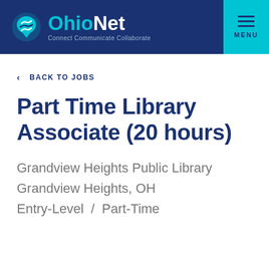OhioNet — Connect Communicate Collaborate
< BACK TO JOBS
Part Time Library Associate (20 hours)
Grandview Heights Public Library
Grandview Heights, OH
Entry-Level / Part-Time